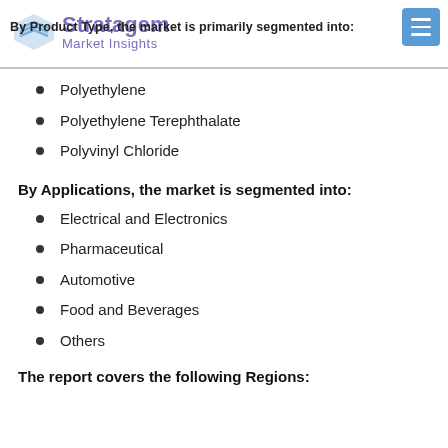Stratagem Market Insights
By Product Type, the market is primarily segmented into:
Polyethylene
Polyethylene Terephthalate
Polyvinyl Chloride
By Applications, the market is segmented into:
Electrical and Electronics
Pharmaceutical
Automotive
Food and Beverages
Others
The report covers the following Regions: